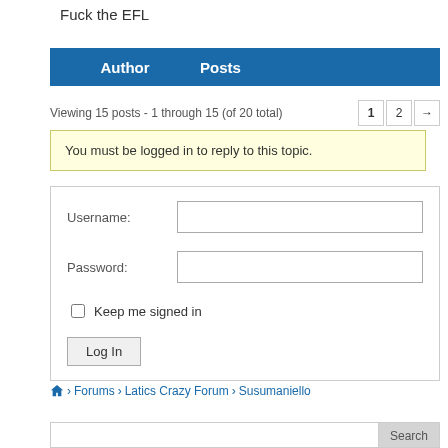Fuck the EFL
| Author | Posts |
| --- | --- |
Viewing 15 posts - 1 through 15 (of 20 total)
You must be logged in to reply to this topic.
Username:
Password:
Keep me signed in
Log In
🏠 › Forums › Latics Crazy Forum › Susumaniello
Search